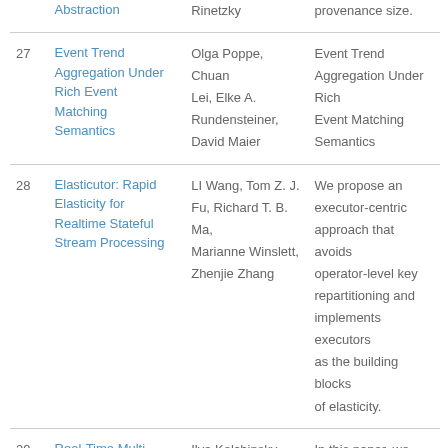| # | Title | Authors | Abstract |
| --- | --- | --- | --- |
|  | Abstraction | Rinetzky | provenance size. |
| 27 | Event Trend Aggregation Under Rich Event Matching Semantics | Olga Poppe, Chuan Lei, Elke A. Rundensteiner, David Maier | Event Trend Aggregation Under Rich Event Matching Semantics |
| 28 | Elasticutor: Rapid Elasticity for Realtime Stateful Stream Processing | LI Wang, Tom Z. J. Fu, Richard T. B. Ma, Marianne Winslett, Zhenjie Zhang | We propose an executor-centric approach that avoids operator-level key repartitioning and implements executors as the building blocks of elasticity. |
| 29 | Real-Time Multi-Pattern Detection | Ilya Kolchinsky, | In this paper, we present a novel framework for real-time multi-pattern |